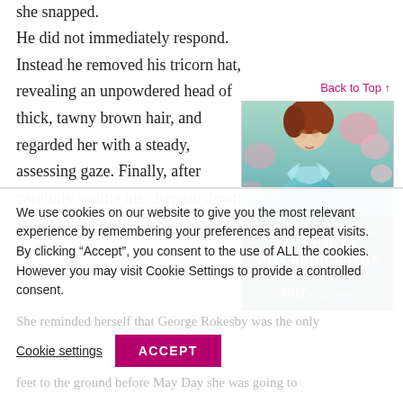she snapped.
He did not immediately respond. Instead he removed his tricorn hat, revealing an unpowdered head of thick, tawny brown hair, and regarded her with a steady, assessing gaze. Finally, after carefully setting his chapeau down on what had once been a stone wall, he looked back up and said,
[Figure (illustration): Book cover for 'Because of Miss Bridgerton: A Bridgerton Prequel' by Julia Quinn, New York Times Bestseller. Shows a woman in a teal/turquoise dress with pink flowers in the background.]
"I cannot say that I'm not enjoying
We use cookies on our website to give you the most relevant experience by remembering your preferences and repeat visits. By clicking “Accept”, you consent to the use of ALL the cookies. However you may visit Cookie Settings to provide a controlled consent.
She reminded herself that George Rokesby was the only
Cookie settings
ACCEPT
feet to the ground before May Day she was going to